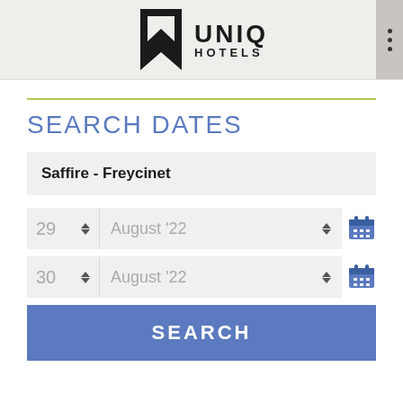[Figure (logo): UNIQ HOTELS logo with bold stylized U and text]
SEARCH DATES
Saffire - Freycinet
29  August '22
30  August '22
SEARCH